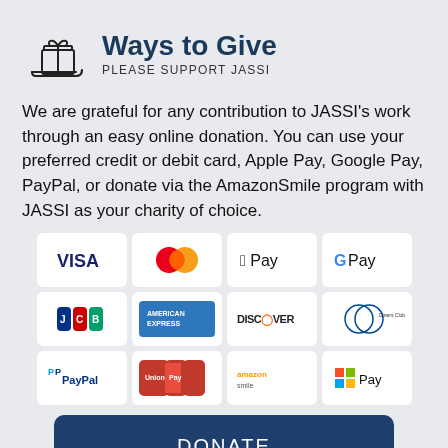Ways to Give
PLEASE SUPPORT JASSI
We are grateful for any contribution to JASSI's work through an easy online donation. You can use your preferred credit or debit card, Apple Pay, Google Pay, PayPal, or donate via the AmazonSmile program with JASSI as your charity of choice.
[Figure (infographic): Payment method logos arranged in a 4x3 grid: VISA, Mastercard, Apple Pay, Google Pay, JCB, American Express, Discover, Diners Club, PayPal, UnionPay, AmazonSmile, Microsoft Pay]
DONATE